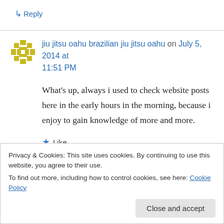↳ Reply
jiu jitsu oahu brazilian jiu jitsu oahu on July 5, 2014 at 11:51 PM
What's up, always i used to check website posts here in the early hours in the morning, because i enjoy to gain knowledge of more and more.
★ Like
Privacy & Cookies: This site uses cookies. By continuing to use this website, you agree to their use.
To find out more, including how to control cookies, see here: Cookie Policy
Close and accept